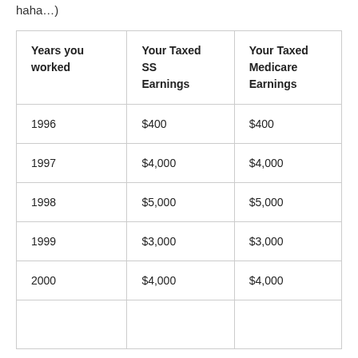haha…)
| Years you worked | Your Taxed SS Earnings | Your Taxed Medicare Earnings |
| --- | --- | --- |
| 1996 | $400 | $400 |
| 1997 | $4,000 | $4,000 |
| 1998 | $5,000 | $5,000 |
| 1999 | $3,000 | $3,000 |
| 2000 | $4,000 | $4,000 |